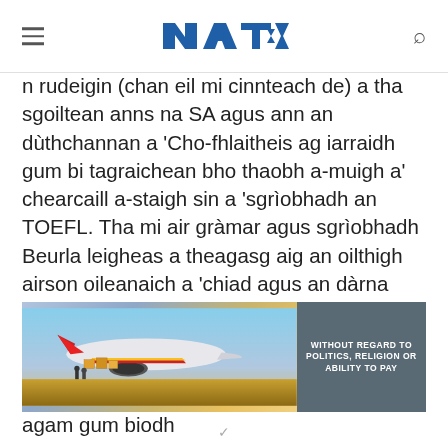NAT (logo)
n rudeigin (chan eil mi cinnteach de) a tha sgoiltean anns na SA agus ann an dùthchannan a 'Cho-fhlaitheis ag iarraidh gum bi tagraichean bho thaobh a-muigh a' chearcaill a-staigh sin a 'sgrìobhadh an TOEFL. Tha mi air gràmar agus sgrìobhadh Beurla leigheas a theagasg aig an oilthigh airson oileanaich a 'chiad agus an dàrna bliadhna, agus chaidh iad uile a thogail an seo ann an Canada, far a bheil mi a' fuireach. Nam biodh na h-oileanaich sin a 'sgrìobhadh an TOEFL, bhiodh amharas agam gum biodh
[Figure (photo): Advertisement banner showing an airplane being loaded with cargo, with text overlay reading 'WITHOUT REGARD TO POLITICS, RELIGION OR ABILITY TO PAY']